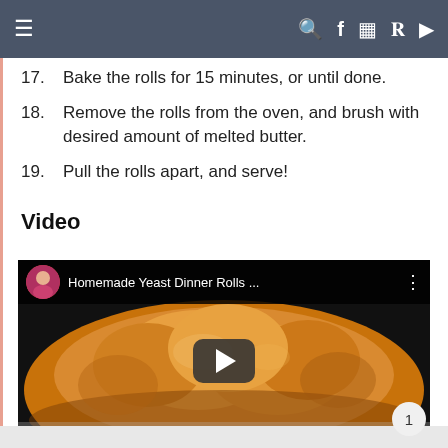≡  🔍 f 📷 𝗣 ▶
17. Bake the rolls for 15 minutes, or until done.
18. Remove the rolls from the oven, and brush with desired amount of melted butter.
19. Pull the rolls apart, and serve!
Video
[Figure (screenshot): YouTube video thumbnail showing homemade yeast dinner rolls in a baking pan, with video title 'Homemade Yeast Dinner Rolls ...' and a play button overlay.]